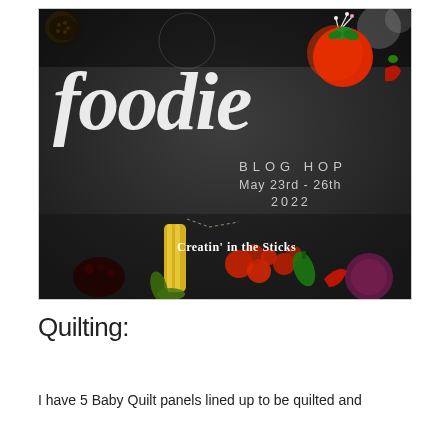[Figure (illustration): Foodie Blog Hop promotional banner on a dark chalkboard background with vegetables (tomatoes, corn, peppers, onion) around the edges. Large handwritten-style white 'foodie' text, 'BLOG HOP', 'May 23rd - 26th 2022', and 'Creatin' in the Sticks' credits. A tomato pincushion illustration in top-right corner.]
Quilting:
I have 5 Baby Quilt panels lined up to be quilted and